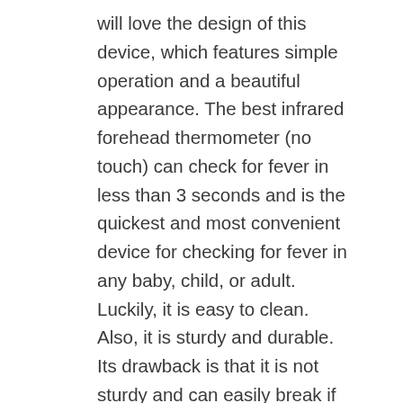will love the design of this device, which features simple operation and a beautiful appearance. The best infrared forehead thermometer (no touch) can check for fever in less than 3 seconds and is the quickest and most convenient device for checking for fever in any baby, child, or adult. Luckily, it is easy to clean. Also, it is sturdy and durable. Its drawback is that it is not sturdy and can easily break if stepped on sat on. It is a must-have if you are thinking of providing your family with optimal medical care. Also, it uses ultra-red technology and displays degrees in either Celsius or Fahrenheit. The problem with it is that it comes with too many additional pieces that can easily get lost or misplaced. 15. So, no need to wonder which range your temperature falls into when the LCD backlight is here to make things easier.To top it off, the Weallnersse has a fever alarm setting that makes a warning sound if the temperature is above normal range.Although the Weallnersse Infrared is primarily